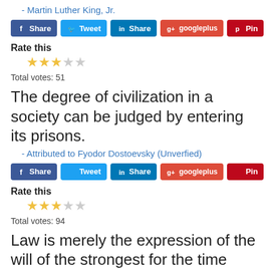- Martin Luther King, Jr.
[Figure (screenshot): Social sharing buttons: Facebook Share, Twitter Tweet, LinkedIn Share, Google+ googleplus, Pinterest Pin]
Rate this
[Figure (other): Star rating: 3 filled stars, 2 empty stars]
Total votes: 51
The degree of civilization in a society can be judged by entering its prisons.
- Attributed to Fyodor Dostoevsky (Unverfied)
[Figure (screenshot): Social sharing buttons: Facebook Share, Twitter Tweet, LinkedIn Share, Google+ googleplus, Pinterest Pin]
Rate this
[Figure (other): Star rating: 3 filled stars, 2 empty stars]
Total votes: 94
Law is merely the expression of the will of the strongest for the time being, and therefore laws have no fixity, but shift from generation to generation.